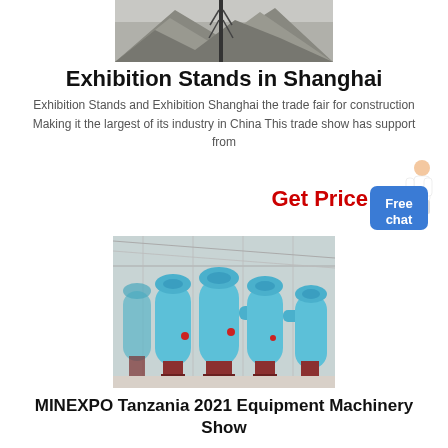[Figure (photo): Aerial or ground view of construction/quarry site with large rock pile and communication tower in the background, grey sky]
Exhibition Stands in Shanghai
Exhibition Stands and Exhibition Shanghai the trade fair for construction Making it the largest of its industry in China This trade show has support from
Get Price
[Figure (illustration): Blue chat assistant figure with Free chat button]
[Figure (photo): Industrial blue cylindrical grinding mill machines lined up in a warehouse/shed facility]
MINEXPO Tanzania 2021 Equipment Machinery Show